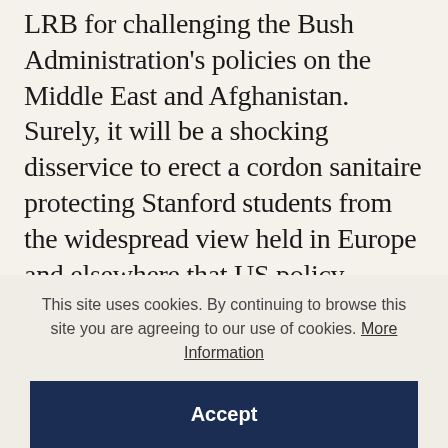LRB for challenging the Bush Administration's policies on the Middle East and Afghanistan. Surely, it will be a shocking disservice to erect a cordon sanitaire protecting Stanford students from the widespread view held in Europe and elsewhere that US policy towards Israel and the Palestinian people has been reckless, incompetent and unjust. It will be an educational abomination if Californian students are drilled into thinking that the terrorism at the World Trade Center and the Pentagon can be regarded as 'wild dog attacks'
This site uses cookies. By continuing to browse this site you are agreeing to our use of cookies. More Information
Accept